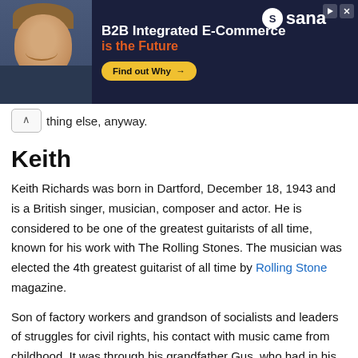[Figure (infographic): Advertisement banner for Sana: B2B Integrated E-Commerce is the Future, with a man smiling and a Find out Why button]
thing else, anyway.
Keith
Keith Richards was born in Dartford, December 18, 1943 and is a British singer, musician, composer and actor. He is considered to be one of the greatest guitarists of all time, known for his work with The Rolling Stones. The musician was elected the 4th greatest guitarist of all time by Rolling Stone magazine.
Son of factory workers and grandson of socialists and leaders of struggles for civil rights, his contact with music came from childhood. It was through his grandfather Gus, who had in his house an old gut string guitar.